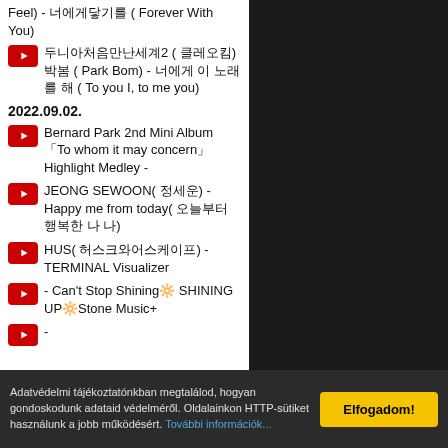Feel) - 너에게닿기를 ( Forever With You)
두니아처음만난세계2 ( 클레오킴) 박봄 ( Park Bom) - 너에게 이 노래를 해 ( To you I, to me you)
2022.09.02.
Bernard Park 2nd Mini Album 「To whom it may concern」 Highlight Medley -
JEONG SEWOON( 정세운) - Happy me from today( 오늘부터 행복한 나)
HUS( 허스크와어스케이프) - TERMINAL Visualizer
- Can't Stop Shining🔆 SHINING UP🔆Stone Music+
-
Adatvédelmi tájékoztatónkban megtalálod, hogyan gondoskodunk adataid védelméről. Oldalainkon HTTP-sütiket használunk a jobb működésért. További információk...
Elfogadom!